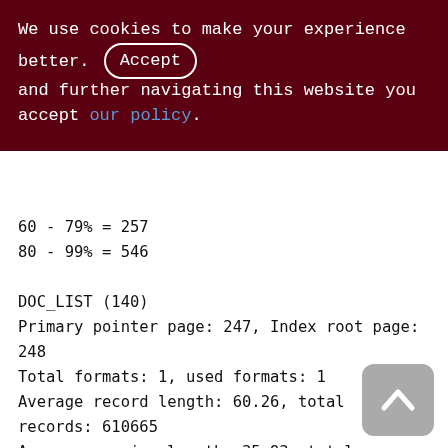We use cookies to make your experience better. By accepting and further navigating this website you accept our policy.
60 - 79% = 257
80 - 99% = 546

DOC_LIST (140)
Primary pointer page: 247, Index root page: 248
Total formats: 1, used formats: 1
Average record length: 60.26, total records: 610665
Average version length: 35.93, total versions: 3099, max versions: 4
Average fragment length: 14.89, total fragments: 0, max fragments: 1